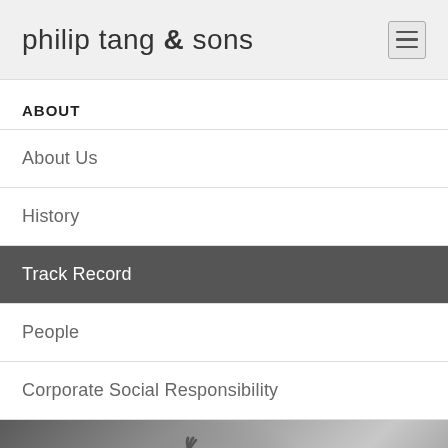philip tang & sons
ABOUT
About Us
History
Track Record
People
Corporate Social Responsibility
[Figure (photo): Black and white photo of a person with one arm raised, possibly a performer or dancer, with navigation arrows on left and right sides]